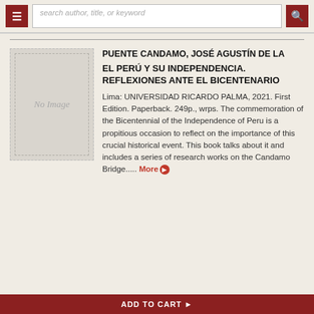search author, title, or keyword
PUENTE CANDAMO, JOSÉ AGUSTÍN DE LA
EL PERÚ Y SU INDEPENDENCIA. REFLEXIONES ANTE EL BICENTENARIO
[Figure (illustration): No Image placeholder — grey rectangle with dashed border]
Lima: UNIVERSIDAD RICARDO PALMA, 2021. First Edition. Paperback. 249p., wrps. The commemoration of the Bicentennial of the Independence of Peru is a propitious occasion to reflect on the importance of this crucial historical event. This book talks about it and includes a series of research works on the Candamo Bridge..... More